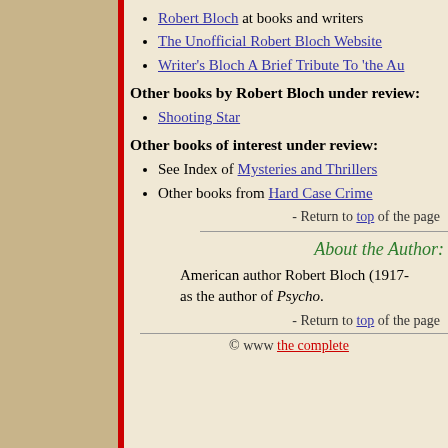Robert Bloch at books and writers
The Unofficial Robert Bloch Website
Writer's Bloch A Brief Tribute To 'the Au...
Other books by Robert Bloch under review:
Shooting Star
Other books of interest under review:
See Index of Mysteries and Thrillers
Other books from Hard Case Crime
- Return to top of the page
About the Author:
American author Robert Bloch (1917- as the author of Psycho.
- Return to top of the page
© ... the complete...